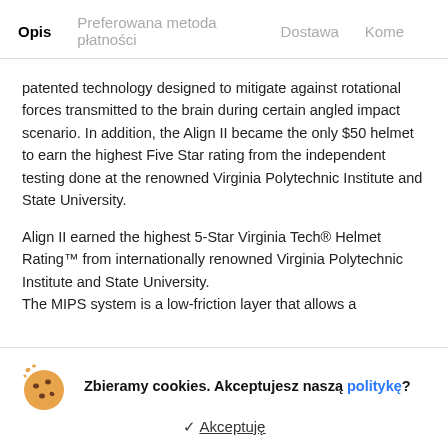Opis   Preferowana metoda płatności   Dostawa   Kome
patented technology designed to mitigate against rotational forces transmitted to the brain during certain angled impact scenario. In addition, the Align II became the only $50 helmet to earn the highest Five Star rating from the independent testing done at the renowned Virginia Polytechnic Institute and State University.
Align II earned the highest 5-Star Virginia Tech® Helmet Rating™ from internationally renowned Virginia Polytechnic Institute and State University.
The MIPS system is a low-friction layer that allows a
Zbieramy cookies. Akceptujesz naszą politykę?
✓ Akceptuję